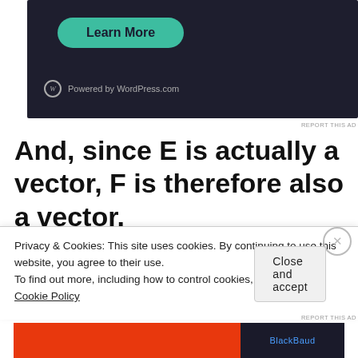[Figure (screenshot): Dark-themed WordPress.com advertisement banner with a teal 'Learn More' button and WordPress logo at bottom left]
REPORT THIS AD
And, since E is actually a vector, F is therefore also a vector.
If we want to represent this in actual
Privacy & Cookies: This site uses cookies. By continuing to use this website, you agree to their use.
To find out more, including how to control cookies, see here:
Cookie Policy
Close and accept